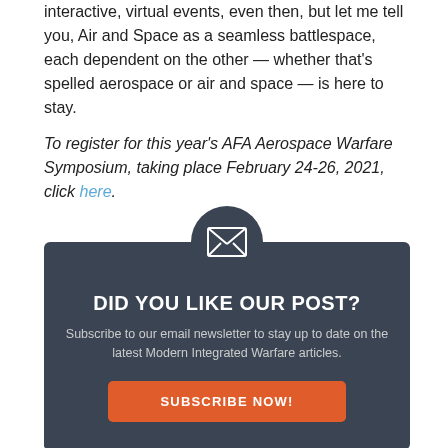interactive, virtual events, even then, but let me tell you, Air and Space as a seamless battlespace, each dependent on the other — whether that's spelled aerospace or air and space — is here to stay.
To register for this year's AFA Aerospace Warfare Symposium, taking place February 24-26, 2021, click here.
[Figure (infographic): Dark gray newsletter subscription box with envelope icon in circle at top, heading 'DID YOU LIKE OUR POST?', subtext about subscribing to email newsletter for Modern Integrated Warfare articles, and an orange 'SUBSCRIBE NOW!' button.]